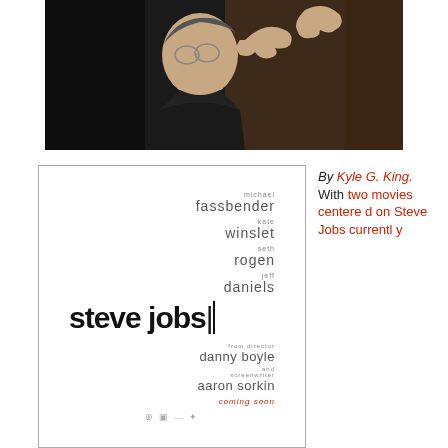[Figure (photo): A man (actor portraying Steve Jobs) wearing round glasses and a dark turtleneck, looking upward with hands raised, in a dramatic dark lighting scene.]
[Figure (other): Movie poster for 'Steve Jobs' featuring cast names: michael fassbender, kate winslet, seth rogen, jeff daniels. Title: steve jobs|. From director danny boyle and screenwriter aaron sorkin. Coming soon.]
By Kyle G. King. With two movies centered on Steve Jobs currently